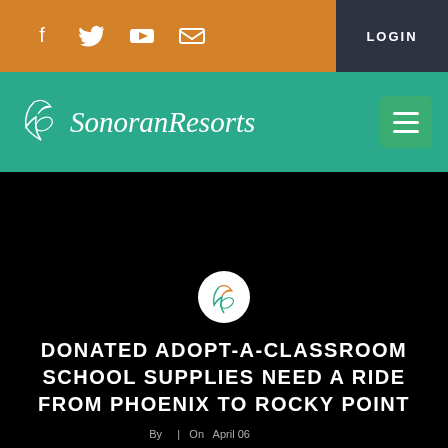Social icons (Facebook, Twitter, YouTube, Email) | LOGIN button
[Figure (logo): Sonoran Resorts logo with cursive script and leaf icon on teal background, with hamburger menu button]
DONATED ADOPT-A-CLASSROOM SCHOOL SUPPLIES NEED A RIDE FROM PHOENIX TO ROCKY POINT
By ... | On April 06 ...